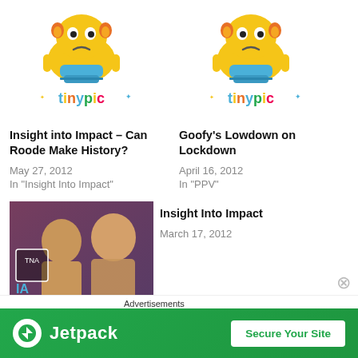[Figure (illustration): TinyPic placeholder image with cartoon robot character and 'tinypic' text in colorful letters]
Insight into Impact – Can Roode Make History?
May 27, 2012
In "Insight Into Impact"
[Figure (illustration): TinyPic placeholder image with cartoon robot character and 'tinypic' text in colorful letters]
Goofy's Lowdown on Lockdown
April 16, 2012
In "PPV"
[Figure (photo): Photo of two wrestlers with 'insight into imp' text overlay]
Insight Into Impact
March 17, 2012
Advertisements
[Figure (other): Jetpack advertisement banner with 'Secure Your Site' button on green background]